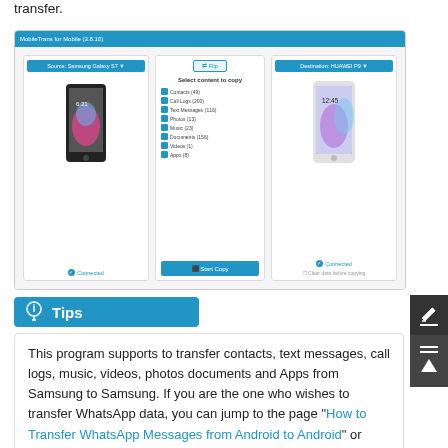transfer.
[Figure (screenshot): Screenshot of MobileTrans software showing phone-to-phone transfer interface. Left panel shows Source: Samsung Galaxy S7 with a phone image and Connected status. Middle panel shows Flip button and Select content to copy list including Contacts (49), Call Logs (200), Text Messages (116), Photos (13), Music (23), Documents (156), Videos (1), Apps (8), and a Start Copy button. Right panel shows Destination: HUAWEI P9 with a phone image and Connected status.]
Tips
This program supports to transfer contacts, text messages, call logs, music, videos, photos documents and Apps from Samsung to Samsung. If you are the one who wishes to transfer WhatsApp data, you can jump to the page "How to Transfer WhatsApp Messages from Android to Android" or "How to Transfer WhatsApp...